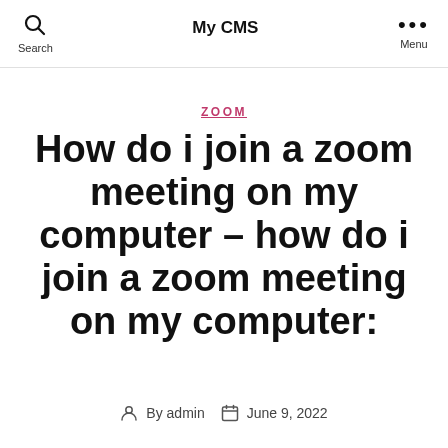Search | My CMS | Menu
ZOOM
How do i join a zoom meeting on my computer – how do i join a zoom meeting on my computer:
By admin  June 9, 2022